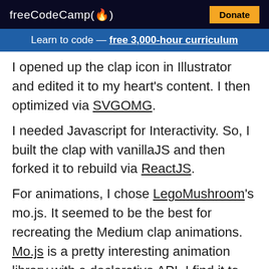freeCodeCamp(🔥)  [Donate]
Learn to code — free 3,000-hour curriculum
I opened up the clap icon in Illustrator and edited it to my heart's content. I then optimized via SVGOMG.
I needed Javascript for Interactivity. So, I built the clap with vanillaJS and then forked it to rebuild via ReactJS.
For animations, I chose LegoMushroom's mo.js. It seemed to be the best for recreating the Medium clap animations. Mo.js is a pretty interesting animation library with a declarative API. I find it to be very beginner friendly, too.